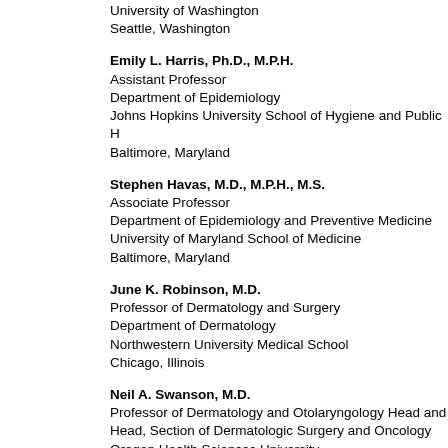University of Washington
Seattle, Washington
Emily L. Harris, Ph.D., M.P.H.
Assistant Professor
Department of Epidemiology
Johns Hopkins University School of Hygiene and Public H
Baltimore, Maryland
Stephen Havas, M.D., M.P.H., M.S.
Associate Professor
Department of Epidemiology and Preventive Medicine
University of Maryland School of Medicine
Baltimore, Maryland
June K. Robinson, M.D.
Professor of Dermatology and Surgery
Department of Dermatology
Northwestern University Medical School
Chicago, Illinois
Neil A. Swanson, M.D.
Professor of Dermatology and Otolaryngology Head and
Head, Section of Dermatologic Surgery and Oncology
Oregon Health Sciences University
Portland, Oregon